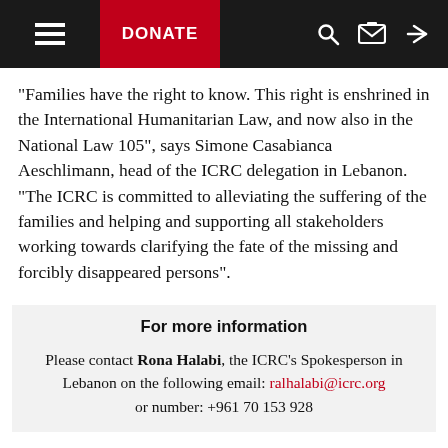[Figure (screenshot): Website navigation bar with hamburger menu icon, red DONATE button, search icon, envelope icon, and share icon on dark background]
“Families have the right to know. This right is enshrined in the International Humanitarian Law, and now also in the National Law 105”, says Simone Casabianca Aeschlimann, head of the ICRC delegation in Lebanon. “The ICRC is committed to alleviating the suffering of the families and helping and supporting all stakeholders working towards clarifying the fate of the missing and forcibly disappeared persons”.
For more information
Please contact Rona Halabi, the ICRC’s Spokesperson in Lebanon on the following email: ralhalabi@icrc.org or number: +961 70 153 928